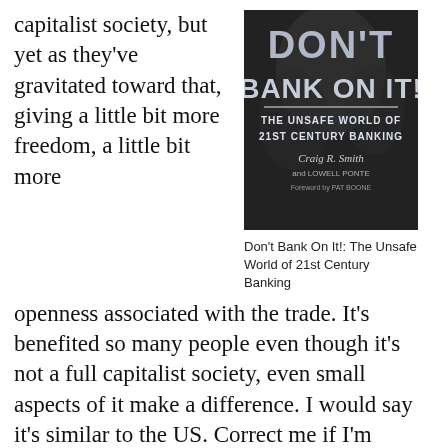capitalist society, but yet as they've gravitated toward that, giving a little bit more freedom, a little bit more openness associated with the trade. It's benefited so many people even though it's not a full capitalist society, even small aspects of it make a difference. I would say it's similar to the US. Correct me if I'm wrong, I don't think there's ever been a pure Laissez-Faire Capitalist society. Are you saying that any increase in those tenants ultimately is going to
[Figure (photo): Book cover of 'Don't Bank On It! The Unsafe World of 21st Century Banking' by Craig R. Smith and Lowell Ponte, Foreword by Pat Boone]
Don't Bank On It!: The Unsafe World of 21st Century Banking